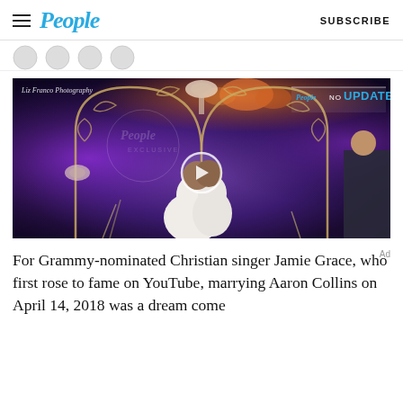People | SUBSCRIBE
[Figure (photo): Wedding photo of Jamie Grace and Aaron Collins kissing under a decorative arch with bow decorations, purple lighting in the background. Watermark reads 'Liz Franco Photography' and 'People NOW UPDATE' badge in top right.]
For Grammy-nominated Christian singer Jamie Grace, who first rose to fame on YouTube, marrying Aaron Collins on April 14, 2018 was a dream come